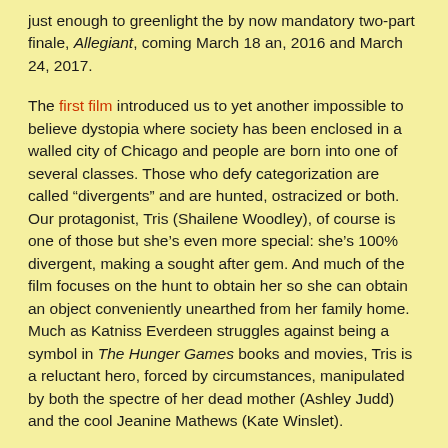just enough to greenlight the by now mandatory two-part finale, Allegiant, coming March 18 an, 2016 and March 24, 2017.
The first film introduced us to yet another impossible to believe dystopia where society has been enclosed in a walled city of Chicago and people are born into one of several classes. Those who defy categorization are called “divergents” and are hunted, ostracized or both. Our protagonist, Tris (Shailene Woodley), of course is one of those but she's even more special: she's 100% divergent, making a sought after gem. And much of the film focuses on the hunt to obtain her so she can obtain an object conveniently unearthed from her family home. Much as Katniss Everdeen struggles against being a symbol in The Hunger Games books and movies, Tris is a reluctant hero, forced by circumstances, manipulated by both the spectre of her dead mother (Ashley Judd) and the cool Jeanine Mathews (Kate Winslet).
She's not alone, accompanied by Four (Theo James), who is forced to admit his love for her when both endure truth